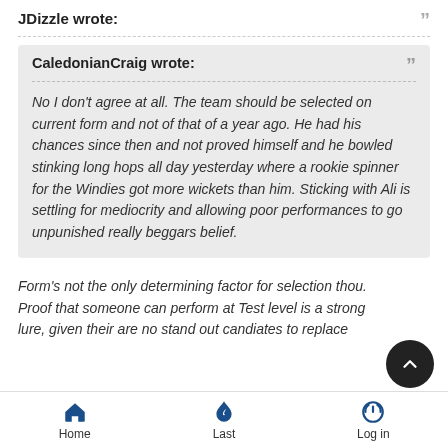JDizzle wrote:
CaledonianCraig wrote: No I don't agree at all. The team should be selected on current form and not of that of a year ago. He had his chances since then and not proved himself and he bowled stinking long hops all day yesterday where a rookie spinner for the Windies got more wickets than him. Sticking with Ali is settling for mediocrity and allowing poor performances to go unpunished really beggars belief.
Form's not the only determining factor for selection thou. Proof that someone can perform at Test level is a strong lure, given their are no stand out candiates to replace